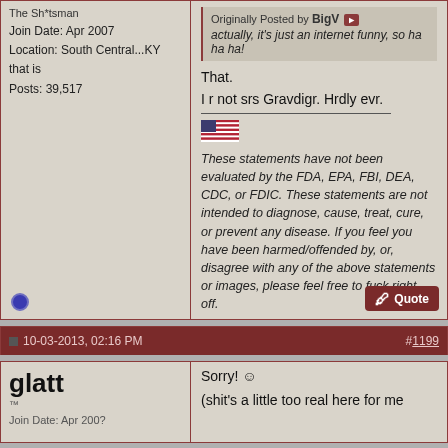Join Date: Apr 2007
Location: South Central...KY that is
Posts: 39,517
Originally Posted by BigV
actually, it's just an internet funny, so ha ha ha!
That.
I r not srs Gravdigr. Hrdly evr.
These statements have not been evaluated by the FDA, EPA, FBI, DEA, CDC, or FDIC. These statements are not intended to diagnose, cause, treat, cure, or prevent any disease. If you feel you have been harmed/offended by, or, disagree with any of the above statements or images, please feel free to fuck right off.
10-03-2013, 02:16 PM
#1199
glatt
Sorry! ☺
(shit's a little too real here for me